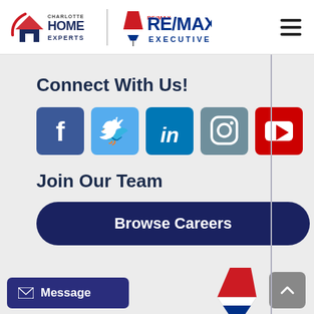[Figure (logo): Charlotte Home Experts and RE/MAX Executive combined logo with navigation hamburger menu]
Connect With Us!
[Figure (infographic): Social media icons: Facebook, Twitter, LinkedIn, Instagram, YouTube]
Join Our Team
[Figure (other): Browse Careers button (dark navy rounded rectangle)]
[Figure (other): Message button (purple) and scroll-to-top button (gray), RE/MAX balloon logo visible at bottom]